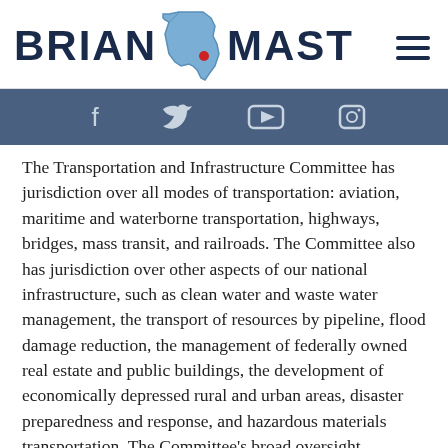BRIAN MAST
[Figure (other): Social media icons bar: Facebook, Twitter, YouTube, Instagram]
The Transportation and Infrastructure Committee has jurisdiction over all modes of transportation: aviation, maritime and waterborne transportation, highways, bridges, mass transit, and railroads. The Committee also has jurisdiction over other aspects of our national infrastructure, such as clean water and waste water management, the transport of resources by pipeline, flood damage reduction, the management of federally owned real estate and public buildings, the development of economically depressed rural and urban areas, disaster preparedness and response, and hazardous materials transportation. The Committee's broad oversight portfolio includes many federal agencies,